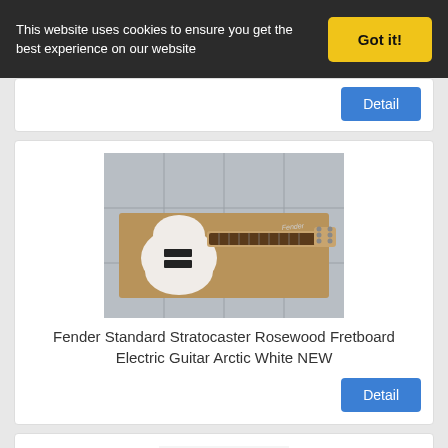This website uses cookies to ensure you get the best experience on our website
Got it!
Detail
[Figure (photo): White Fender Standard Stratocaster electric guitar with rosewood fretboard, laid on a cardboard box against a tiled wall background]
Fender Standard Stratocaster Rosewood Fretboard Electric Guitar Arctic White NEW
Detail
[Figure (photo): White Fender Standard Stratocaster electric guitar (RW Arctic White) standing upright on white background, showing full body and neck]
Fender Standard Stratocaster RW - Arctic White